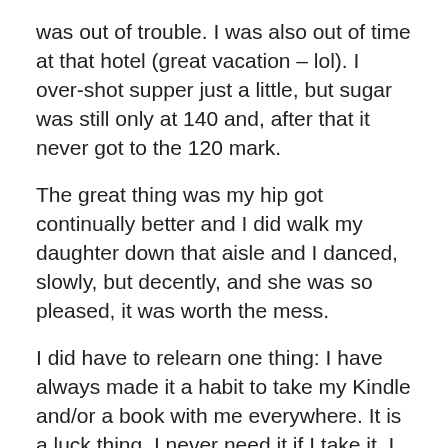was out of trouble.  I was also out of time at that hotel (great vacation – lol).  I over-shot supper just a little, but sugar was still only at 140 and, after that it never got to the 120 mark.
The great thing was my hip got continually better and I did walk my daughter down that aisle and I danced, slowly, but decently, and she was so pleased, it was worth the mess.
I did have to relearn one thing:  I have always made it a habit to take my Kindle and/or a book with me everywhere.  It is a luck thing.  I never need it if I take it.  I was running late to the rehearsal, so I didn't take the Kindle.  I was off on the time and arrived an hour early!  Could've used that Kindle!
After the wedding, my son stayed with me at the hotel for